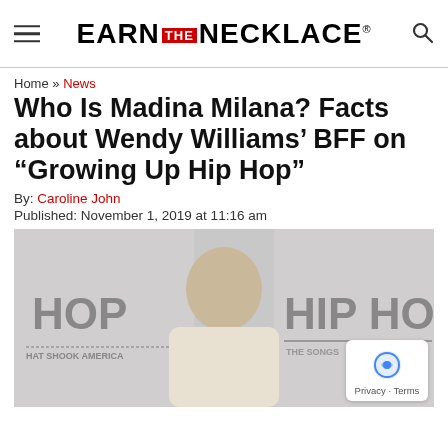EARN THE NECKLACE
Home » News
Who Is Madina Milana? Facts about Wendy Williams' BFF on "Growing Up Hip Hop"
By: Caroline John
Published: November 1, 2019 at 11:16 am
[Figure (photo): Photo of Madina Milana at a Hip Hop event backdrop with logos 'HOP' and 'HIP HO' and text 'THE SONGS' and 'HAT SHOOK AMERICA' visible]